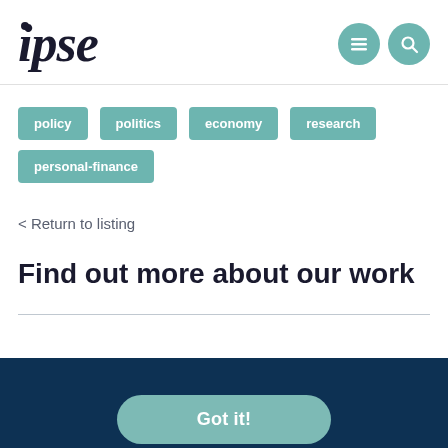ipse
policy
politics
economy
research
personal-finance
< Return to listing
Find out more about our work
Got it!